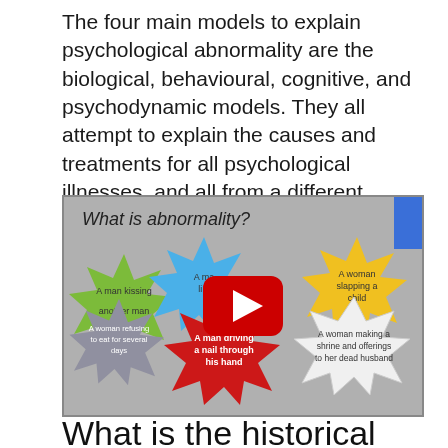The four main models to explain psychological abnormality are the biological, behavioural, cognitive, and psychodynamic models. They all attempt to explain the causes and treatments for all psychological illnesses, and all from a different approach.
[Figure (screenshot): Video thumbnail showing 'What is abnormality?' with star-shaped labels: 'A man kissing another man' (green), 'A man...' (blue), 'A woman slapping a child' (yellow), 'A woman refusing to eat for several days' (gray), 'A man driving a nail through his hand' (red), 'A woman making a shrine and offerings to her dead husband' (white). A YouTube play button is centered over the image.]
What is the historical background of abnormal